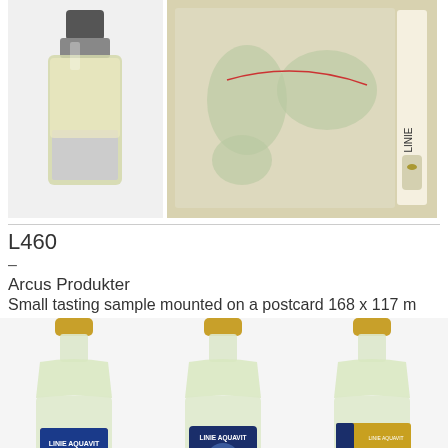[Figure (photo): Small bottle of Linie Aquavit spirit on a white background]
[Figure (photo): Linie Aquavit postcard showing a world map with a small bottle mounted on it]
L460
–
Arcus Produkter
Small tasting sample mounted on a postcard 168 x 117 m
[Figure (photo): Three miniature Linie Aquavit bottles showing front, back and side labels]
[Figure (photo): Middle miniature Linie Aquavit bottle showing back label with text about Norwegian Aquavit]
[Figure (photo): Right miniature Linie Aquavit bottle showing gold label side]